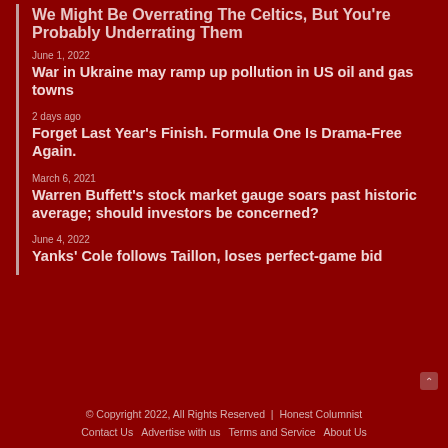We Might Be Overrating The Celtics, But You’re Probably Underrating Them
June 1, 2022
War in Ukraine may ramp up pollution in US oil and gas towns
2 days ago
Forget Last Year’s Finish. Formula One Is Drama-Free Again.
March 6, 2021
Warren Buffett’s stock market gauge soars past historic average; should investors be concerned?
June 4, 2022
Yanks’ Cole follows Taillon, loses perfect-game bid
© Copyright 2022, All Rights Reserved  |  Honest Columnist
Contact Us    Advertise with us    Terms and Service    About Us